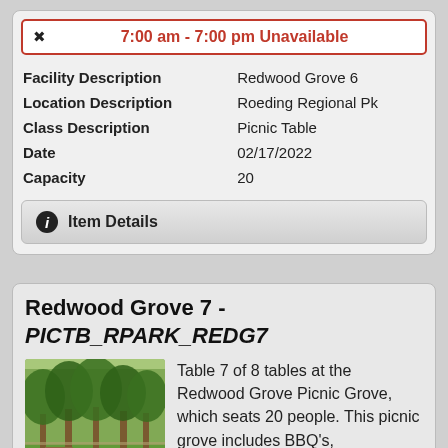× 7:00 am - 7:00 pm Unavailable
| Field | Value |
| --- | --- |
| Facility Description | Redwood Grove 6 |
| Location Description | Roeding Regional Pk |
| Class Description | Picnic Table |
| Date | 02/17/2022 |
| Capacity | 20 |
ℹ Item Details
Redwood Grove 7 - PICTB_RPARK_REDG7
[Figure (photo): Park photo showing picnic tables under trees at Redwood Grove Picnic Grove]
Table 7 of 8 tables at the Redwood Grove Picnic Grove, which seats 20 people. This picnic grove includes BBQ's,